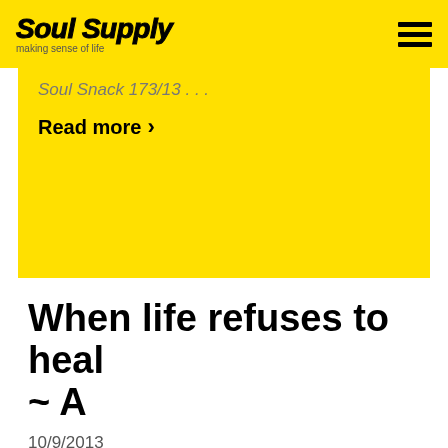Soul Supply — making sense of life
Soul Snack 173/13 . . .
Read more ›
When life refuses to heal ~ A
10/9/2013
Soul Snack 174/13 . . .
Read more ›